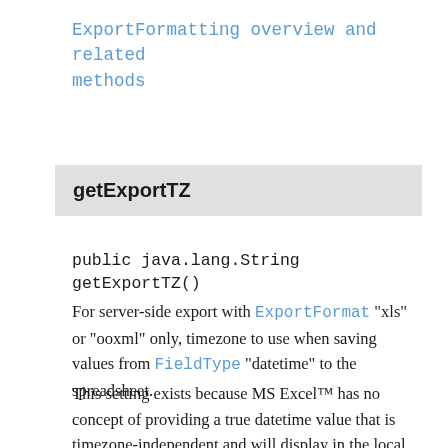ExportFormatting overview and related methods
getExportTZ
public java.lang.String getExportTZ()
For server-side export with ExportFormat "xls" or "ooxml" only, timezone to use when saving values from FieldType "datetime" to the spreadsheet.
This setting exists because MS Excel™ has no concept of providing a true datetime value that is timezone-independent and will display in the local timezone where the Excel program is launched. This setting sets the timezone of the Excel workbook, so that it will display dates in the same timezone regardless of the local timezone.